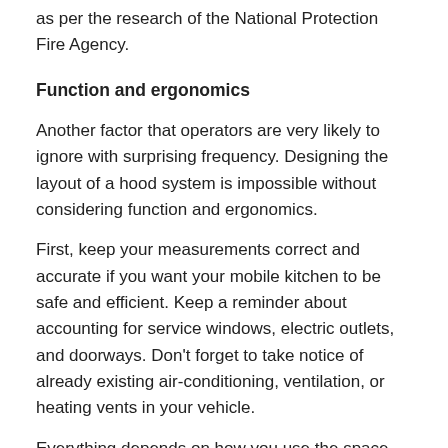as per the research of the National Protection Fire Agency.
Function and ergonomics
Another factor that operators are very likely to ignore with surprising frequency. Designing the layout of a hood system is impossible without considering function and ergonomics.
First, keep your measurements correct and accurate if you want your mobile kitchen to be safe and efficient. Keep a reminder about accounting for service windows, electric outlets, and doorways. Don’t forget to take notice of already existing air-conditioning, ventilation, or heating vents in your vehicle.
Everything depends on how you use the space inside your